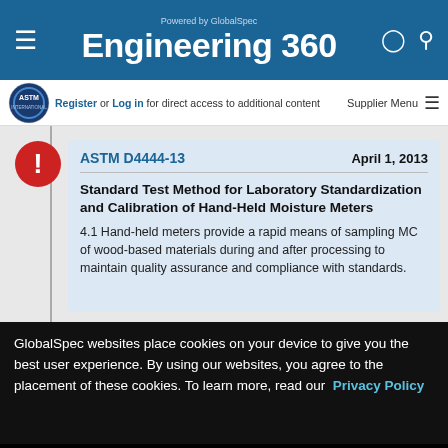Engineering 360 — Powered by GlobalSpec
Register or Log in for direct access to additional content
Supplier Menu
ASTM D4444-13    April 1, 2013
Standard Test Method for Laboratory Standardization and Calibration of Hand-Held Moisture Meters
4.1 Hand-held meters provide a rapid means of sampling MC of wood-based materials during and after processing to maintain quality assurance and compliance with standards.
GlobalSpec websites place cookies on your device to give you the best user experience. By using our websites, you agree to the placement of these cookies. To learn more, read our Privacy Policy
Accept & Close